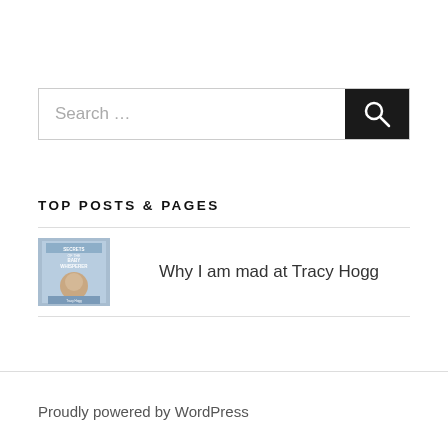[Figure (screenshot): Search bar with text 'Search ...' and a black search button with magnifying glass icon]
TOP POSTS & PAGES
[Figure (illustration): Book cover thumbnail for 'Secrets of the Baby Whisperer' by Tracy Hogg]
Why I am mad at Tracy Hogg
Proudly powered by WordPress